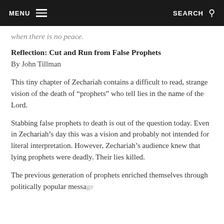MENU  SEARCH
when there is no peace.
Reflection: Cut and Run from False Prophets
By John Tillman
This tiny chapter of Zechariah contains a difficult to read, strange vision of the death of “prophets” who tell lies in the name of the Lord.
Stabbing false prophets to death is out of the question today. Even in Zechariah’s day this was a vision and probably not intended for literal interpretation. However, Zechariah’s audience knew that lying prophets were deadly. Their lies killed.
The previous generation of prophets enriched themselves through politically popular messages...